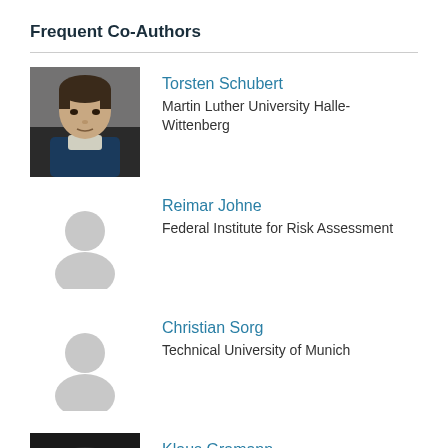Frequent Co-Authors
Torsten Schubert
Martin Luther University Halle-Wittenberg
Reimar Johne
Federal Institute for Risk Assessment
Christian Sorg
Technical University of Munich
Klaus Gramann
Technical University of Berlin
Werner X. Schneider
Bielefeld University